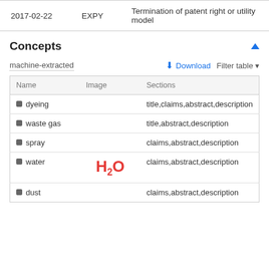|  |  |  |
| --- | --- | --- |
| 2017-02-22 | EXPY | Termination of patent right or utility model |
Concepts
machine-extracted
| Name | Image | Sections |
| --- | --- | --- |
| dyeing |  | title,claims,abstract,description |
| waste gas |  | title,abstract,description |
| spray |  | claims,abstract,description |
| water | H2O | claims,abstract,description |
| dust |  | claims,abstract,description |